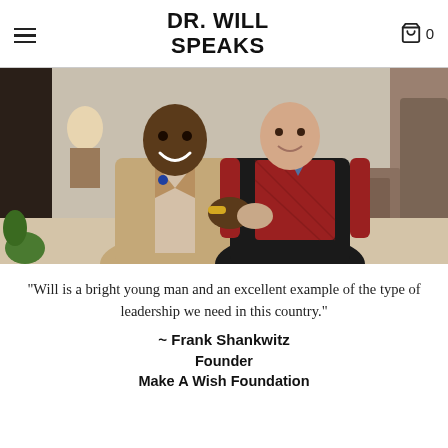DR. WILL SPEAKS
[Figure (photo): Two men shaking hands and smiling in a restaurant or event venue setting. The man on the left wears a tan blazer over a light shirt with a decorative lapel pin and a gold bracelet. The man on the right wears a red plaid shirt under a black vest.]
"Will is a bright young man and an excellent example of the type of leadership we need in this country."
~ Frank Shankwitz
Founder
Make A Wish Foundation